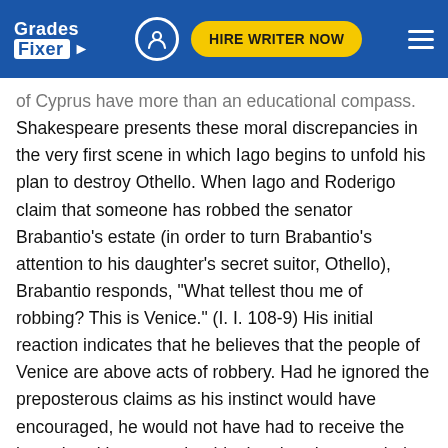Grades Fixer — HIRE WRITER NOW
of Cyprus have more than an educational compass. Shakespeare presents these moral discrepancies in the very first scene in which Iago begins to unfold his plan to destroy Othello. When Iago and Roderigo claim that someone has robbed the senator Brabantio's estate (in order to turn Brabantio's attention to his daughter's secret suitor, Othello), Brabantio responds, "What tellest thou me of robbing? This is Venice." (I. I. 108-9) His initial reaction indicates that he believes that the people of Venice are above acts of robbery. Had he ignored the preposterous claims as his instinct would have encouraged, he would not have had to receive the heart-breaking news that his daughter has married the Moor — information of which he would have rather been ignorant. The inhabitants of Cyprus, on the other hand, consider thievery normative as